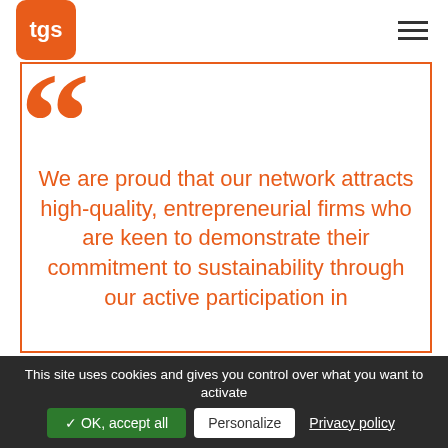[Figure (logo): TGS logo: orange rounded square with white 'tgs' text]
We are proud that our network attracts high-quality, entrepreneurial firms who are keen to demonstrate their commitment to sustainability through our active participation in
This site uses cookies and gives you control over what you want to activate   ✓ OK, accept all   Personalize   Privacy policy